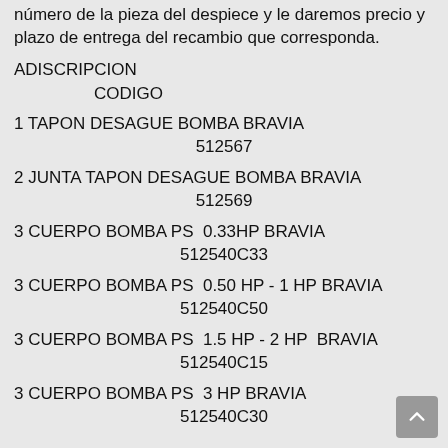número de la pieza del despiece y le daremos precio y plazo de entrega del recambio que corresponda.
ADISCRIPCION
            CODIGO
1 TAPON DESAGUE BOMBA BRAVIA
        512567
2 JUNTA TAPON DESAGUE BOMBA BRAVIA
        512569
3 CUERPO BOMBA PS  0.33HP BRAVIA
        512540C33
3 CUERPO BOMBA PS  0.50 HP - 1 HP BRAVIA
        512540C50
3 CUERPO BOMBA PS  1.5 HP - 2 HP  BRAVIA
        512540C15
3 CUERPO BOMBA PS  3 HP BRAVIA
        512540C30